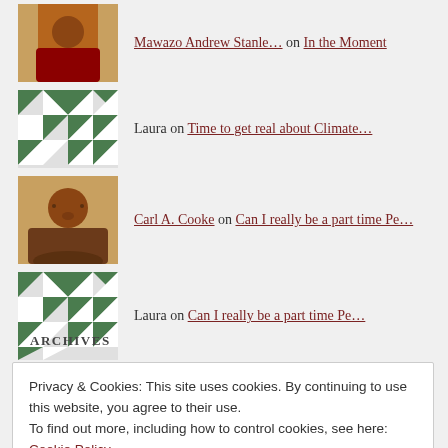Mawazo Andrew Stanle… on In the Moment
Laura on Time to get real about Climate…
Carl A. Cooke on Can I really be a part time Pe…
Laura on Can I really be a part time Pe…
ARCHIVES
Privacy & Cookies: This site uses cookies. By continuing to use this website, you agree to their use.
To find out more, including how to control cookies, see here: Cookie Policy